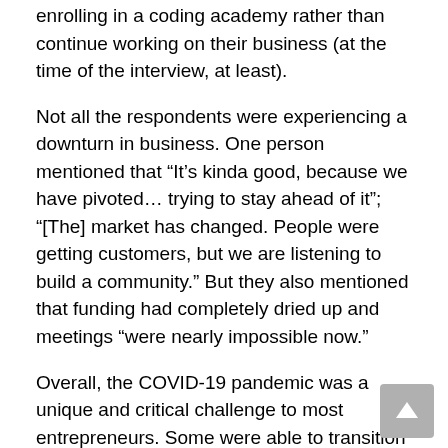enrolling in a coding academy rather than continue working on their business (at the time of the interview, at least).
Not all the respondents were experiencing a downturn in business. One person mentioned that “It’s kinda good, because we have pivoted… trying to stay ahead of it”; “[The] market has changed. People were getting customers, but we are listening to build a community.” But they also mentioned that funding had completely dried up and meetings “were nearly impossible now.”
Overall, the COVID-19 pandemic was a unique and critical challenge to most entrepreneurs. Some were able to transition or pivot into other things. Most were just waiting to see what happens and hoped to regain some of their momentum once the economic and social implications had become clearer.
Conclusion